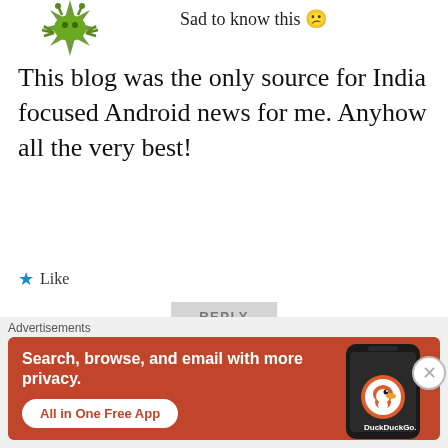[Figure (illustration): Green starburst/robot-like avatar icon at top left]
Sad to know this 😕
This blog was the only source for India focused Android news for me. Anyhow all the very best!
★ Like
REPLY
[Figure (illustration): Pink/mauve decorative snowflake/diamond pattern avatar for user Pavan]
Pavan
Advertisements
[Figure (screenshot): DuckDuckGo advertisement banner: 'Search, browse, and email with more privacy. All in One Free App' with phone mockup showing DuckDuckGo logo]